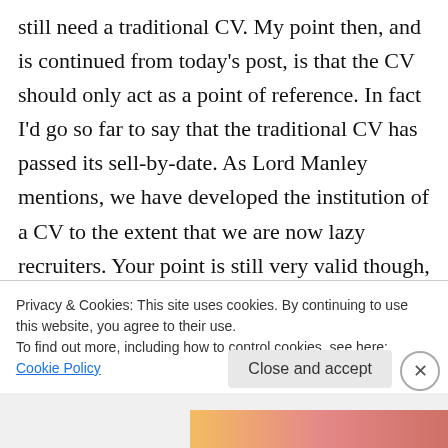still need a traditional CV. My point then, and is continued from today's post, is that the CV should only act as a point of reference. In fact I'd go so far to say that the traditional CV has passed its sell-by-date. As Lord Manley mentions, we have developed the institution of a CV to the extent that we are now lazy recruiters. Your point is still very valid though, the time factor is the biggest barrier to social recruiting becoming a more widely used format. In reality, I don't think 90% of the working population will
Privacy & Cookies: This site uses cookies. By continuing to use this website, you agree to their use.
To find out more, including how to control cookies, see here: Cookie Policy